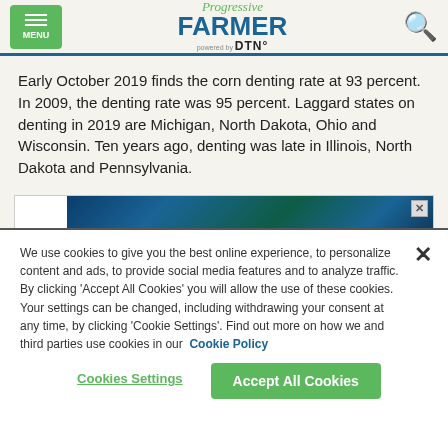Progressive FARMER powered by DTN — MENU | Search
Early October 2019 finds the corn denting rate at 93 percent. In 2009, the denting rate was 95 percent. Laggard states on denting in 2019 are Michigan, North Dakota, Ohio and Wisconsin. Ten years ago, denting was late in Illinois, North Dakota and Pennsylvania.
[Figure (other): Advertisement banner with blue/green digital background imagery and close X button]
We use cookies to give you the best online experience, to personalize content and ads, to provide social media features and to analyze traffic. By clicking 'Accept All Cookies' you will allow the use of these cookies. Your settings can be changed, including withdrawing your consent at any time, by clicking 'Cookie Settings'. Find out more on how we and third parties use cookies in our Cookie Policy
Cookies Settings
Accept All Cookies